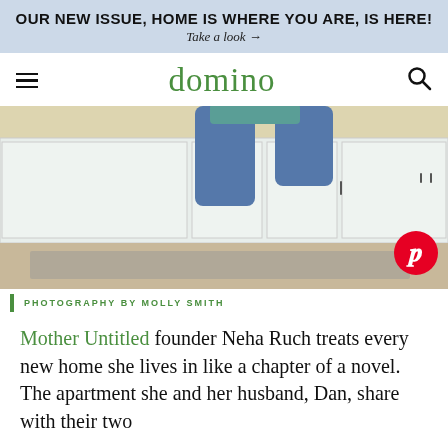OUR NEW ISSUE, HOME IS WHERE YOU ARE, IS HERE! Take a look →
domino
[Figure (photo): Person sitting on kitchen counter, legs dangling, bare feet, wearing blue jeans, white cabinetry in background]
PHOTOGRAPHY BY MOLLY SMITH
Mother Untitled founder Neha Ruch treats every new home she lives in like a chapter of a novel. The apartment she and her husband, Dan, share with their two